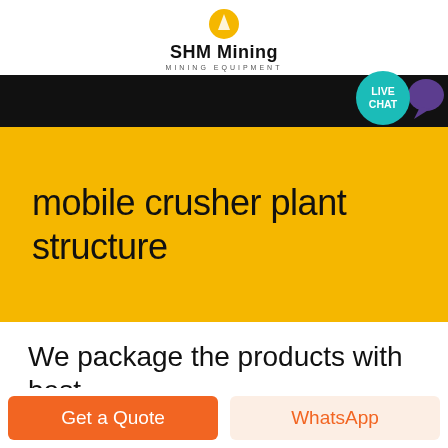SHM Mining MINING EQUIPMENT
[Figure (screenshot): Black navigation bar with a teal 'LIVE CHAT' circle button and purple speech bubble icon on the right side]
mobile crusher plant structure
We package the products with best
[Figure (screenshot): Bottom action bar with orange 'Get a Quote' button and light orange 'WhatsApp' button]